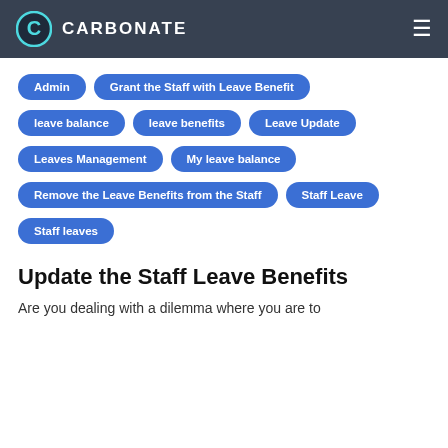CARBONATE
Admin
Grant the Staff with Leave Benefit
leave balance
leave benefits
Leave Update
Leaves Management
My leave balance
Remove the Leave Benefits from the Staff
Staff Leave
Staff leaves
Update the Staff Leave Benefits
Are you dealing with a dilemma where you are to